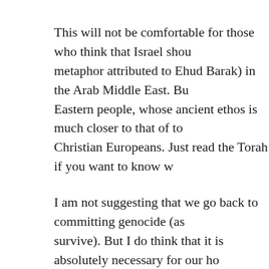This will not be comfortable for those who think that Israel shou metaphor attributed to Ehud Barak) in the Arab Middle East. Bu Eastern people, whose ancient ethos is much closer to that of to Christian Europeans. Just read the Torah if you want to know w
I am not suggesting that we go back to committing genocide (as survive). But I do think that it is absolutely necessary for our ho truly settle accounts with the murderers of Dvir Sorek. They sho
And I'll go further and add that we also have an account with th society – have become comfortable with the idea that we will no that they have a perfect right to burn our land, to shoot at us, an they manage to catch undefended. We should respond to these a terrifying way.
European morality says that collective punishment is wrong. Bu demands collective punishment.